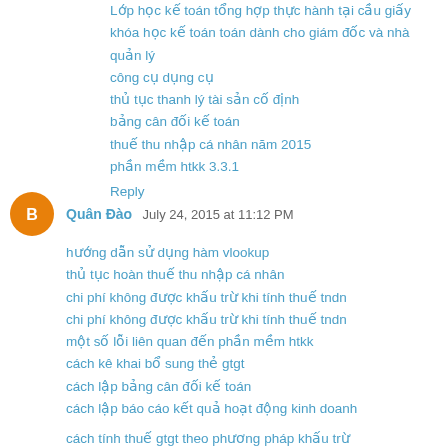Lớp học kế toán tổng hợp thực hành tại cầu giấy
khóa học kế toán toán dành cho giám đốc và nhà quản lý
công cụ dụng cụ
thủ tục thanh lý tài sản cố định
bảng cân đối kế toán
thuế thu nhập cá nhân năm 2015
phần mềm htkk 3.3.1
Reply
Quân Đào  July 24, 2015 at 11:12 PM
hướng dẫn sử dụng hàm vlookup
thủ tục hoàn thuế thu nhập cá nhân
chi phí không được khấu trừ khi tính thuế tndn
chi phí không được khấu trừ khi tính thuế tndn
một số lỗi liên quan đến phần mềm htkk
cách kê khai bổ sung thẻ gtgt
cách lập bảng cân đối kế toán
cách lập báo cáo kết quả hoạt động kinh doanh
cách tính thuế gtgt theo phương pháp khấu trừ
xử lý hóa đơn sai